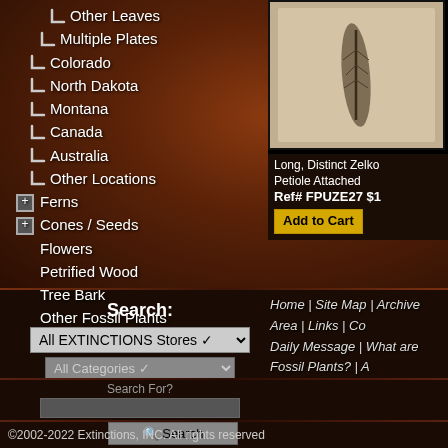Other Leaves
Multiple Plates
Colorado
North Dakota
Montana
Canada
Australia
Other Locations
Ferns
Cones / Seeds
Flowers
Petrified Wood
Tree Bark
Other Fossil Plants
[Figure (photo): Fossil plant specimen photo - Long, Distinct Zelko Petiole Attached]
Long, Distinct Zelko Petiole Attached
Ref# FPUZE27 $1
Add to Cart
Search:
All EXTINCTIONS Stores
All Categories
Home | Site Map | Archive Area | Links | Co Daily Message | What are Fossil Plants? | A
©2002-2022 Extinctions, INC. All rights reserved